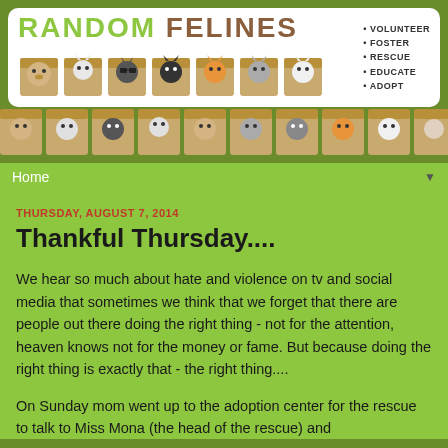[Figure (illustration): Random Felines blog header banner with white rounded rectangle containing colorful logo text 'RANDOM FELINES' with cat illustrations in boxes, and bullet list: VOLUNTEER, FOSTER, RESCUE, EDUCATE, ADOPT]
[Figure (illustration): Strip of cat-in-box cartoon illustrations on green background]
Home
THURSDAY, AUGUST 7, 2014
Thankful Thursday....
We hear so much about hate and violence on tv and social media that sometimes we think that we forget that there are people out there doing the right thing - not for the attention, heaven knows not for the money or fame. But because doing the right thing is exactly that - the right thing....
On Sunday mom went up to the adoption center for the rescue to talk to Miss Mona (the head of the rescue) and